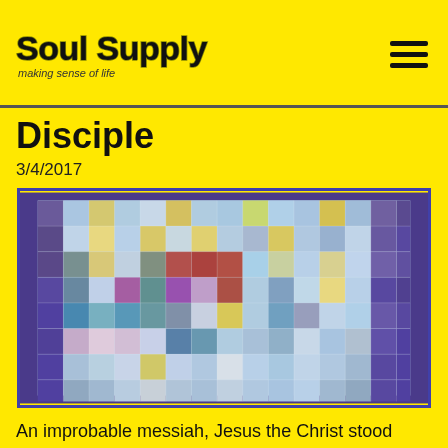Soul Supply - making sense of life
Disciple
3/4/2017
[Figure (photo): A colorful patchwork quilt with blues, purples, yellows, pinks and multi-colored fabric squares arranged in a grid pattern with a purple border.]
An improbable messiah, Jesus the Christ stood before the raging masses.